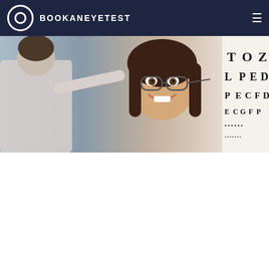BOOKANEYETEST
[Figure (photo): Optometrist fitting glasses on a smiling woman patient with an eye chart visible in the background showing letters T, O, Z, L, P, E, D, P, E, C, F, D]
Is 20/20 vision the best you can have?
We use cookies on our website to give you the most relevant experience by remembering your preferences and repeat visits. By clicking “Accept”, you consent to the use of ALL the cookies.
Cookie settings | ACCEPT